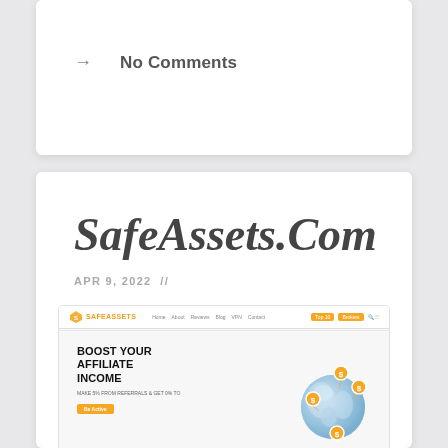→   No Comments
SafeAssets.Com
APR 9, 2022  //
[Figure (screenshot): Screenshot of SafeAssets.Com website homepage showing a navigation bar with the SafeAssets logo in orange, menu links, and a hero section with bold text 'BOOST YOUR AFFILIATE INCOME' with a subtitle 'MAKE 5% FROM REFERRALS & GET 0% TO' and an orange 'Be Active' button, alongside a 3D blue globe with orange dollar-coin pins.]